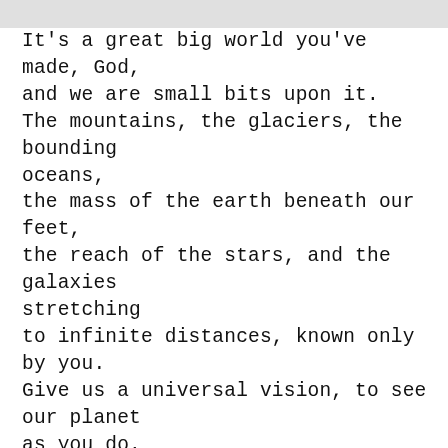It's a great big world you've made, God, and we are small bits upon it. The mountains, the glaciers, the bounding oceans, the mass of the earth beneath our feet, the reach of the stars, and the galaxies stretching to infinite distances, known only by you. Give us a universal vision, to see our planet as you do. Could there be peace on earth, could it begin with me? Help me see beyond borders, for there are no countries from space. You know all that's done under the sun, and all that needs doing so we can get along.